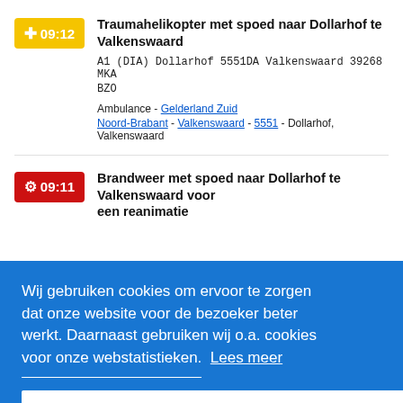09:12 — Traumahelikopter met spoed naar Dollarhof te Valkenswaard
A1 (DIA) Dollarhof 5551DA Valkenswaard 39268 MKA BZO
Ambulance - Gelderland Zuid
Noord-Brabant - Valkenswaard - 5551 - Dollarhof, Valkenswaard
09:11 — Brandweer met spoed naar Dollarhof te Valkenswaard voor een reanimatie
Wij gebruiken cookies om ervoor te zorgen dat onze website voor de bezoeker beter werkt. Daarnaast gebruiken wij o.a. cookies voor onze webstatistieken. Lees meer
Oké!
Brandweer - Brabant Zuid-Oost